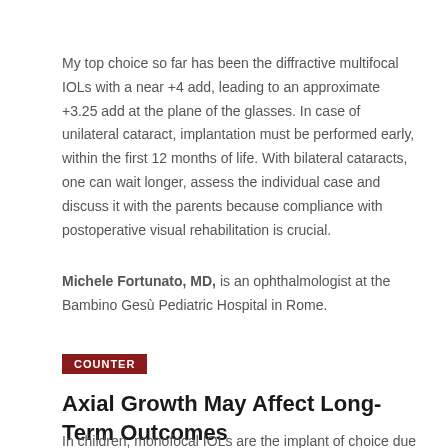My top choice so far has been the diffractive multifocal IOLs with a near +4 add, leading to an approximate +3.25 add at the plane of the glasses. In case of unilateral cataract, implantation must be performed early, within the first 12 months of life. With bilateral cataracts, one can wait longer, assess the individual case and discuss it with the parents because compliance with postoperative visual rehabilitation is crucial.
Michele Fortunato, MD, is an ophthalmologist at the Bambino Gesù Pediatric Hospital in Rome.
COUNTER
Axial Growth May Affect Long-Term Outcomes
In children, monofocal IOLs are the implant of choice due to their superior image quality and minimal visual aberrations.